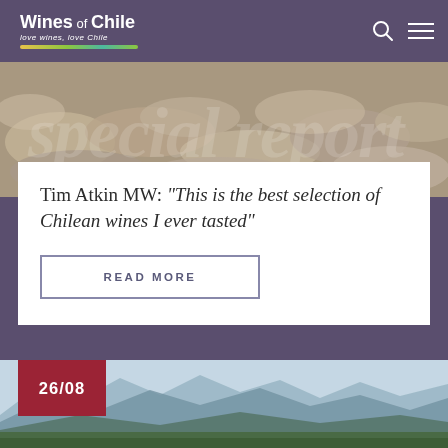Wines of Chile — Love wines, love Chile
[Figure (photo): Hero banner with rocky stones background and large italic text overlay reading 'special report', with byline 'BY TIM ATKIN MW']
Tim Atkin MW: “This is the best selection of Chilean wines I ever tasted”
READ MORE
[Figure (photo): Date badge '26/08' over landscape photo showing mountain range with blue haze and vineyard in foreground]